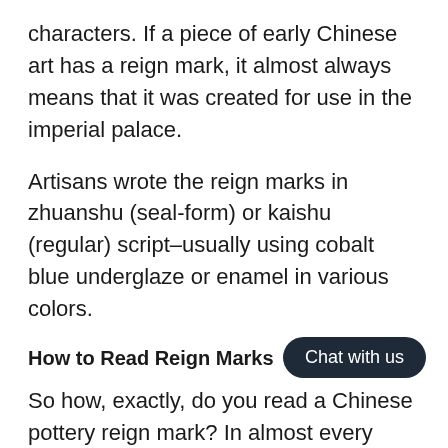characters. If a piece of early Chinese art has a reign mark, it almost always means that it was created for use in the imperial palace.
Artisans wrote the reign marks in zhuanshu (seal-form) or kaishu (regular) script–usually using cobalt blue underglaze or enamel in various colors.
How to Read Reign Marks
So how, exactly, do you read a Chinese pottery reign mark? In almost every case, they follow the same rule as Chinese characters still do today: top to bottom and right to left.
The dynasty is represented in the fi characters, while the second two name the emperor.